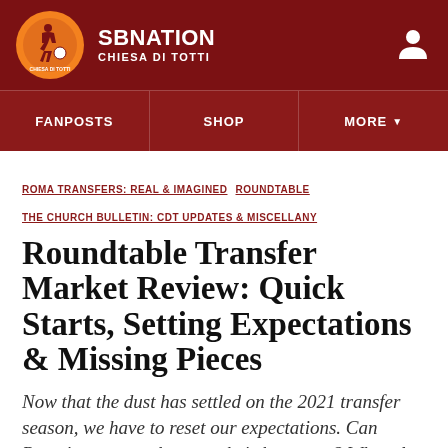SBNATION CHIESA DI TOTTI
FANPOSTS  SHOP  MORE
ROMA TRANSFERS: REAL & IMAGINED  ROUNDTABLE
THE CHURCH BULLETIN: CDT UPDATES & MISCELLANY
Roundtable Transfer Market Review: Quick Starts, Setting Expectations & Missing Pieces
Now that the dust has settled on the 2021 transfer season, we have to reset our expectations. Can Roma's new guys keep up their hot starts? What else needs to be